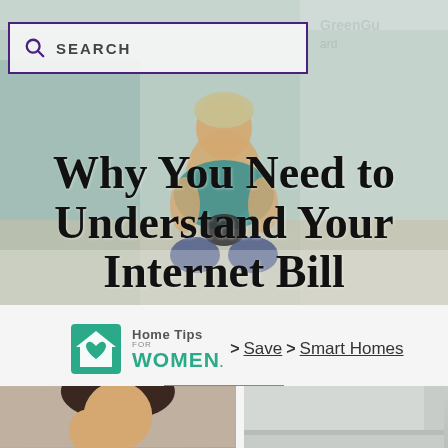[Figure (photo): Hero image: woman sitting on floor holding a small black dog in a construction/renovation setting with teal walls and building materials, with a search box overlay in the upper left]
Why You Need to Understand Your Internet Bill
[Figure (logo): Home Tips for WOMEN logo — teal house icon with heart, with brand name in teal and gray]
> Save > Smart Homes
Content may contain referral links. Read our disclosure policy for more information.
[Figure (photo): Bottom strip showing partial photo of a woman with dark hair on the left side, and a light gray/teal background on the right side]